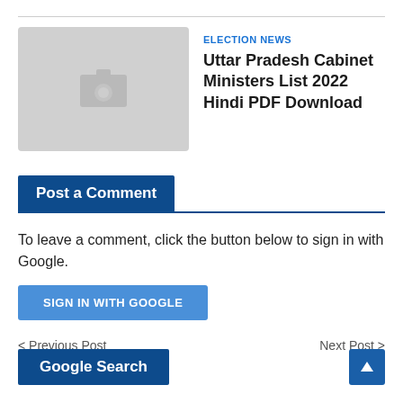[Figure (photo): Placeholder image thumbnail with camera icon]
ELECTION NEWS
Uttar Pradesh Cabinet Ministers List 2022 Hindi PDF Download
Post a Comment
To leave a comment, click the button below to sign in with Google.
SIGN IN WITH GOOGLE
< Previous Post
Next Post >
Google Search